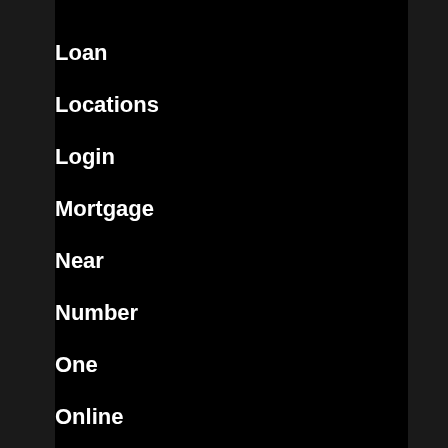Loan
Locations
Login
Mortgage
Near
Number
One
Online
Open